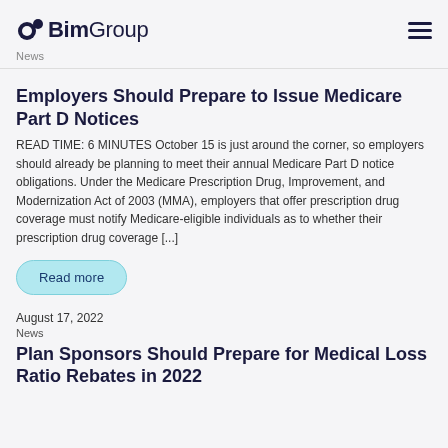BimGroup
News
Employers Should Prepare to Issue Medicare Part D Notices
READ TIME: 6 MINUTES October 15 is just around the corner, so employers should already be planning to meet their annual Medicare Part D notice obligations. Under the Medicare Prescription Drug, Improvement, and Modernization Act of 2003 (MMA), employers that offer prescription drug coverage must notify Medicare-eligible individuals as to whether their prescription drug coverage [...]
Read more
August 17, 2022
News
Plan Sponsors Should Prepare for Medical Loss Ratio Rebates in 2022